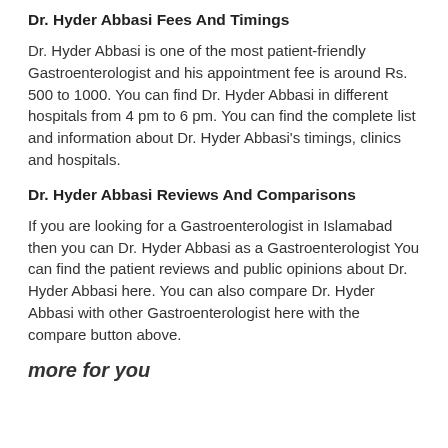Dr. Hyder Abbasi Fees And Timings
Dr. Hyder Abbasi is one of the most patient-friendly Gastroenterologist and his appointment fee is around Rs. 500 to 1000. You can find Dr. Hyder Abbasi in different hospitals from 4 pm to 6 pm. You can find the complete list and information about Dr. Hyder Abbasi's timings, clinics and hospitals.
Dr. Hyder Abbasi Reviews And Comparisons
If you are looking for a Gastroenterologist in Islamabad then you can Dr. Hyder Abbasi as a Gastroenterologist You can find the patient reviews and public opinions about Dr. Hyder Abbasi here. You can also compare Dr. Hyder Abbasi with other Gastroenterologist here with the compare button above.
more for you